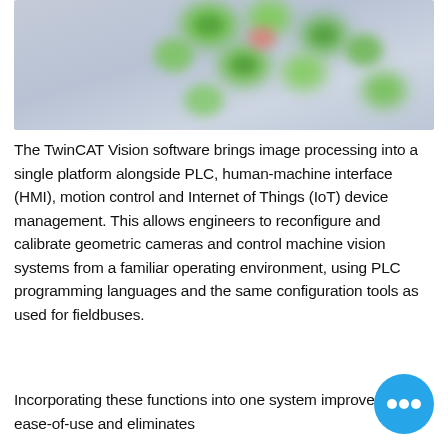[Figure (photo): Close-up blurred photo of small green and pink/red round objects (possibly seeds or components) on a light grey-blue background]
The TwinCAT Vision software brings image processing into a single platform alongside PLC, human-machine interface (HMI), motion control and Internet of Things (IoT) device management. This allows engineers to reconfigure and calibrate geometric cameras and control machine vision systems from a familiar operating environment, using PLC programming languages and the same configuration tools as used for fieldbuses.
Incorporating these functions into one system improves ease-of-use and eliminates